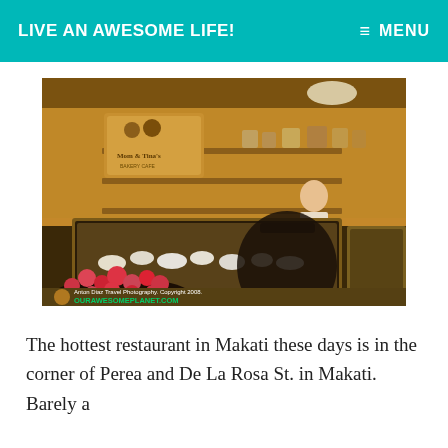LIVE AN AWESOME LIFE!
[Figure (photo): Interior of Mom & Tina's Bakery Cafe in Makati showing glass display cases with pastries, shelves with products, a staff member behind the counter, and roses in the foreground. Photo credit: Anton Diaz Travel Photography, Copyright 2008. OURAWESOMEPLANET.COM]
The hottest restaurant in Makati these days is in the corner of Perea and De La Rosa St. in Makati. Barely a